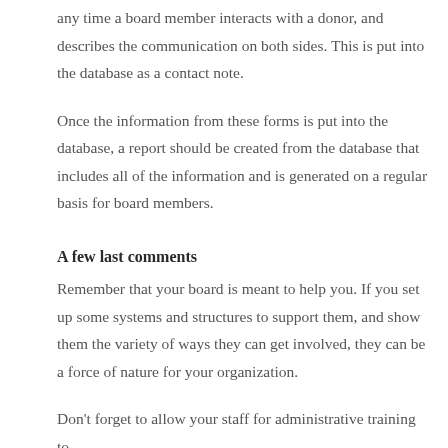any time a board member interacts with a donor, and describes the communication on both sides. This is put into the database as a contact note.
Once the information from these forms is put into the database, a report should be created from the database that includes all of the information and is generated on a regular basis for board members.
A few last comments
Remember that your board is meant to help you. If you set up some systems and structures to support them, and show them the variety of ways they can get involved, they can be a force of nature for your organization.
Don't forget to allow your staff for administrative training to...